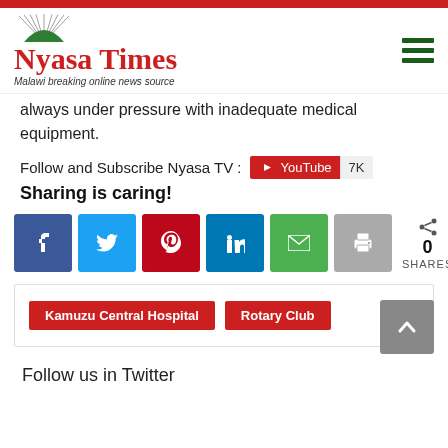[Figure (logo): Nyasa Times logo with arch graphic and tagline 'Malawi breaking online news source']
always under pressure with inadequate medical equipment.
Follow and Subscribe Nyasa TV :
Sharing is caring!
[Figure (infographic): Social share buttons: Facebook, Twitter, Pinterest, LinkedIn, Email, Print; Share count showing 0 SHARES]
Kamauz Central Hospital  Rotary Club
Follow us in Twitter